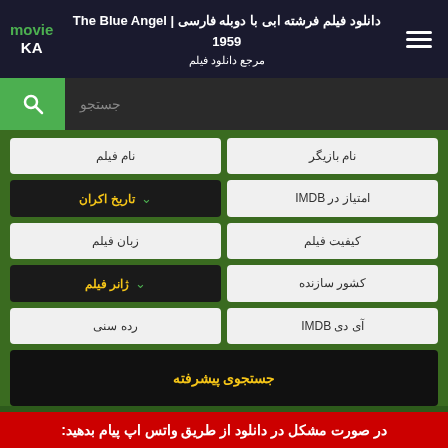دانلود فیلم فرشته ابی با دوبله فارسی | The Blue Angel 1959  مرجع دانلود فیلم  movie KA
جستجو
| نام فیلم | نام بازیگر |
| --- | --- |
| تاریخ اکران ∨ | امتیاز در IMDB |
| زبان فیلم | کیفیت فیلم |
| ژانر فیلم ∨ | کشور سازنده |
| رده سنی | آی دی IMDB |
جستجوی پیشرفته
در صورت مشکل در دانلود از طریق واتس اپ پیام بدهید: